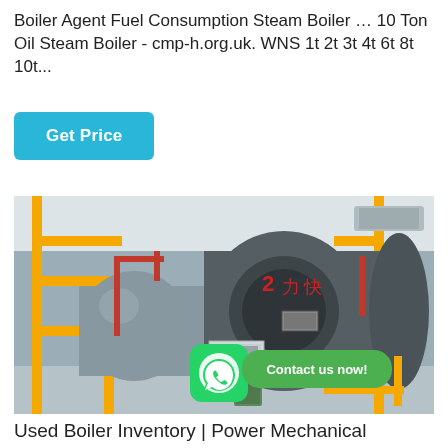Boiler Agent Fuel Consumption Steam Boiler … 10 Ton Oil Steam Boiler - cmp-h.org.uk. WNS 1t 2t 3t 4t 6t 8t 10t...
[Figure (other): Button labeled 'Get Price' with cyan/blue background]
[Figure (photo): Industrial boiler room with large horizontal cylindrical boilers in grey/silver, yellow piping framework, red pipe accents, white ceiling with ventilation ducts. WhatsApp icon and 'Contact us now!' green bubble overlay on bottom portion of image.]
Used Boiler Inventory | Power Mechanical